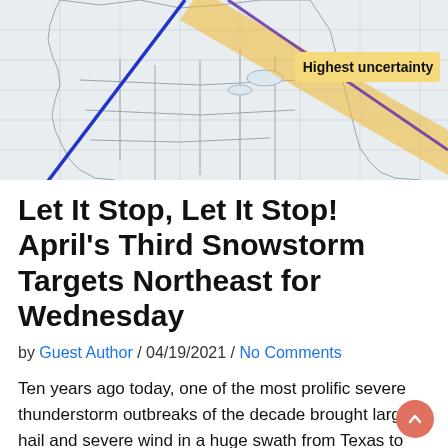[Figure (map): Partial weather map showing North America with a blue diagonal line and an orange/yellow shaded band labeled 'Highest uncertainty' crossing from southwest to northeast]
Let It Stop, Let It Stop! April’s Third Snowstorm Targets Northeast for Wednesday
by Guest Author / 04/19/2021 / No Comments
Ten years ago today, one of the most prolific severe thunderstorm outbreaks of the decade brought large hail and severe wind in a huge swath from Texas to Ohio, as a major squall line evolved amidst a huge hot and moist warm sector. It exemplified the kind of hyper-active, warm, muggy spring pattern caused by persistent western US troughing, which framed that devastating